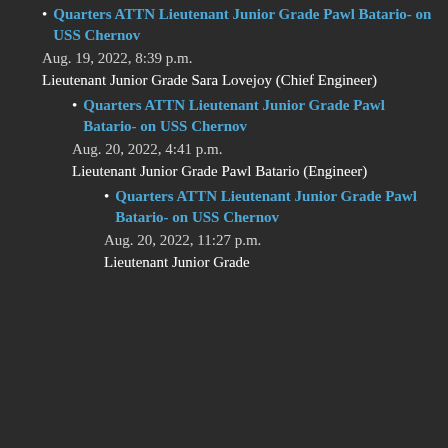Quarters ATTN Lieutenant Junior Grade Pawl Batario- on USS Chernov
Aug. 19, 2022, 8:39 p.m.
Lieutenant Junior Grade Sara Lovejoy (Chief Engineer)
Quarters ATTN Lieutenant Junior Grade Pawl Batario- on USS Chernov
Aug. 20, 2022, 4:41 p.m.
Lieutenant Junior Grade Pawl Batario (Engineer)
Quarters ATTN Lieutenant Junior Grade Pawl Batario- on USS Chernov
Aug. 20, 2022, 11:27 p.m.
Lieutenant Junior Grade